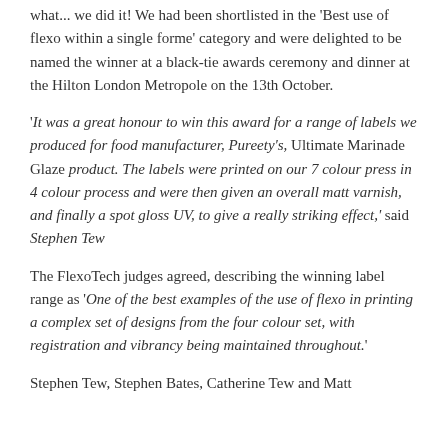what... we did it! We had been shortlisted in the 'Best use of flexo within a single forme' category and were delighted to be named the winner at a black-tie awards ceremony and dinner at the Hilton London Metropole on the 13th October.
'It was a great honour to win this award for a range of labels we produced for food manufacturer, Pureety's, Ultimate Marinade Glaze product. The labels were printed on our 7 colour press in 4 colour process and were then given an overall matt varnish, and finally a spot gloss UV, to give a really striking effect,' said Stephen Tew
The FlexoTech judges agreed, describing the winning label range as 'One of the best examples of the use of flexo in printing a complex set of designs from the four colour set, with registration and vibrancy being maintained throughout.'
Stephen Tew, Stephen Bates, Catherine Tew and Matt